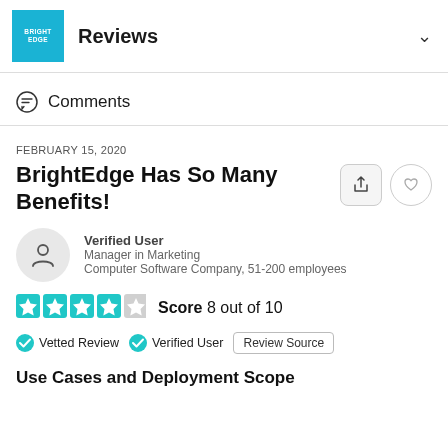BrightEdge Reviews
Comments
FEBRUARY 15, 2020
BrightEdge Has So Many Benefits!
Verified User
Manager in Marketing
Computer Software Company, 51-200 employees
Score 8 out of 10
Vetted Review   Verified User   Review Source
Use Cases and Deployment Scope